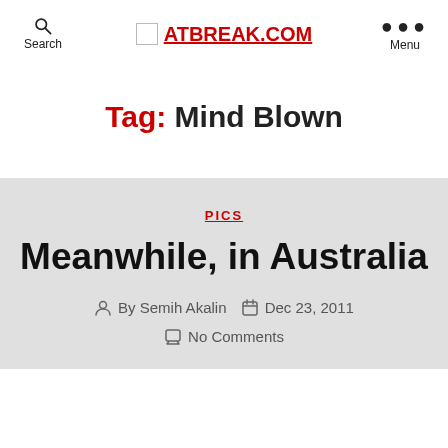Search | ATBREAK.COM | Menu
Tag: Mind Blown
PICS
Meanwhile, in Australia
By Semih Akalin  Dec 23, 2011  No Comments